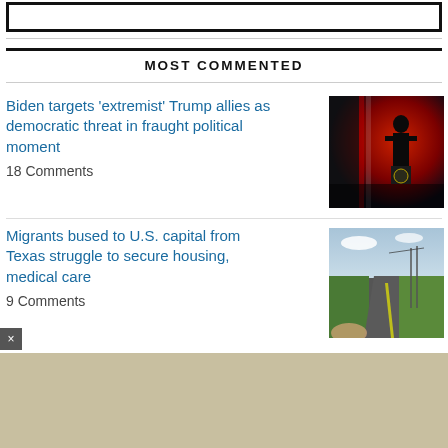[Figure (other): Partial top border box (cut off at top of page)]
MOST COMMENTED
Biden targets ‘extremist’ Trump allies as democratic threat in fraught political moment
18 Comments
[Figure (photo): Photo of a figure at a podium with red lighting background and American flag]
Migrants bused to U.S. capital from Texas struggle to secure housing, medical care
9 Comments
[Figure (photo): Photo of a road in a rural area with green fields]